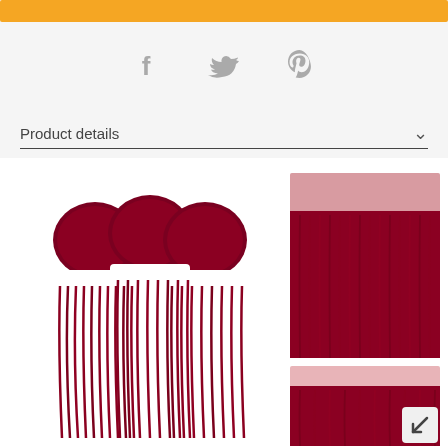[Figure (other): Orange horizontal bar at top of page, appears to be a button or banner]
[Figure (other): Social media share icons: Facebook (f), Twitter (bird), Pinterest (p) in gray]
Product details
[Figure (photo): Product photo showing burgundy/dark red straight human hair bundles (3 bundles with white weft bands visible) on the left, and a lace frontal piece also in burgundy color on the right. A second partially visible frontal at the bottom right. Arrow/scroll button visible at bottom right corner.]